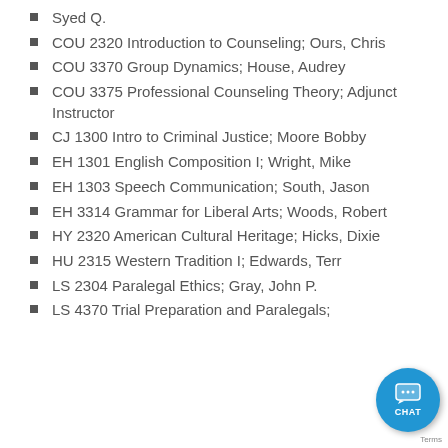Syed Q.
COU 2320 Introduction to Counseling; Ours, Chris
COU 3370 Group Dynamics; House, Audrey
COU 3375 Professional Counseling Theory; Adjunct Instructor
CJ 1300 Intro to Criminal Justice; Moore Bobby
EH 1301 English Composition I; Wright, Mike
EH 1303 Speech Communication; South, Jason
EH 3314 Grammar for Liberal Arts; Woods, Robert
HY 2320 American Cultural Heritage; Hicks, Dixie
HU 2315 Western Tradition I; Edwards, Terr…
LS 2304 Paralegal Ethics; Gray, John P.
LS 4370 Trial Preparation and Paralegals;